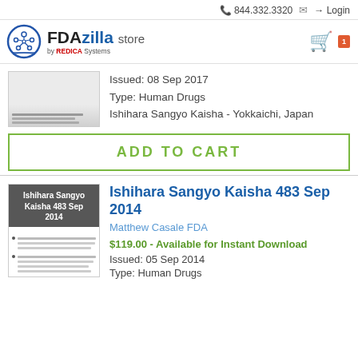844.332.3320  Login
[Figure (logo): FDAzilla store by REDICA Systems logo with blue circle tree icon]
Issued: 08 Sep 2017
Type: Human Drugs
Ishihara Sangyo Kaisha - Yokkaichi, Japan
ADD TO CART
Ishihara Sangyo Kaisha 483 Sep 2014
Matthew Casale FDA
$119.00 - Available for Instant Download
Issued: 05 Sep 2014
Type: Human Drugs